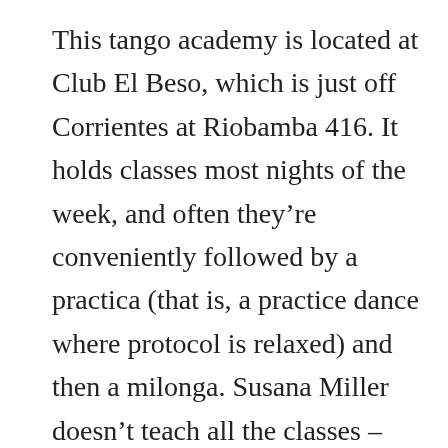This tango academy is located at Club El Beso, which is just off Corrientes at Riobamba 416. It holds classes most nights of the week, and often they're conveniently followed by a practica (that is, a practice dance where protocol is relaxed) and then a milonga. Susana Miller doesn't teach all the classes – she's too famous for that! – but the school has plenty of other excellent teachers. With generally a great atmosphere and a friendly vibe, this school is one of the best. For more information you can either call El Beso on 4953-2794, or if your spoken Spanish leaves something to be desired, email them